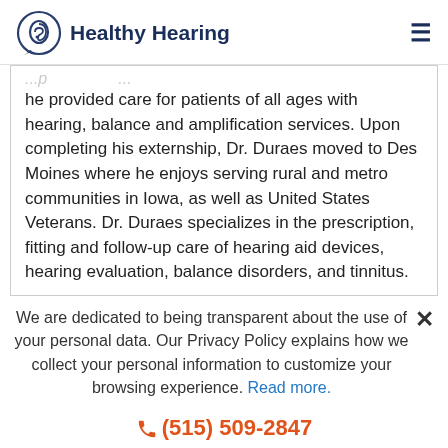Healthy Hearing
he provided care for patients of all ages with hearing, balance and amplification services. Upon completing his externship, Dr. Duraes moved to Des Moines where he enjoys serving rural and metro communities in Iowa, as well as United States Veterans. Dr. Duraes specializes in the prescription, fitting and follow-up care of hearing aid devices, hearing evaluation, balance disorders, and tinnitus.
We are dedicated to being transparent about the use of your personal data. Our Privacy Policy explains how we collect your personal information to customize your browsing experience. Read more.
(515) 509-2847